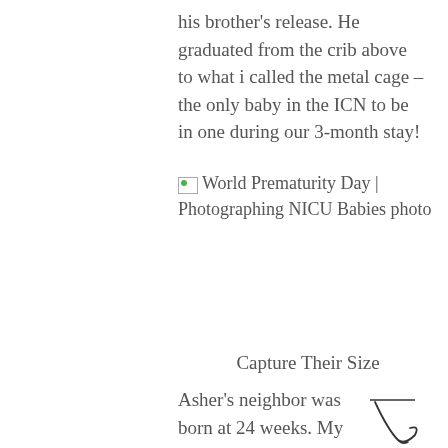his brother's release. He graduated from the crib above to what i called the metal cage – the only baby in the ICN to be in one during our 3-month stay!
[Figure (photo): Broken image placeholder labeled 'World Prematurity Day | Photographing NICU Babies photo']
Capture Their Size
Asher's neighbor was born at 24 weeks. My little guys were 29 weeks. Regardless, they were super small at 3